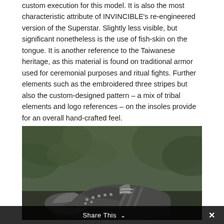custom execution for this model. It is also the most characteristic attribute of INVINCIBLE's re-engineered version of the Superstar. Slightly less visible, but significant nonetheless is the use of fish-skin on the tongue. It is another reference to the Taiwanese heritage, as this material is found on traditional armor used for ceremonial purposes and ritual fights. Further elements such as the embroidered three stripes but also the custom-designed pattern – a mix of tribal elements and logo references – on the insoles provide for an overall hand-crafted feel.
[Figure (photo): A photo of an Adidas Superstar sneaker by INVINCIBLE, placed on an outdoor natural surface with blurred green foliage in the background. The sneaker appears to be dark grey/charcoal with textured material and studded detailing.]